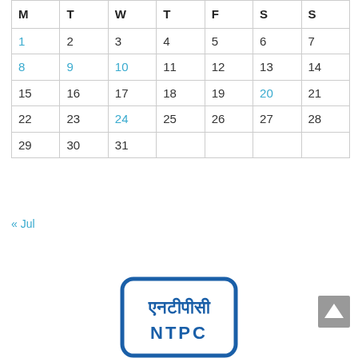| M | T | W | T | F | S | S |
| --- | --- | --- | --- | --- | --- | --- |
| 1 | 2 | 3 | 4 | 5 | 6 | 7 |
| 8 | 9 | 10 | 11 | 12 | 13 | 14 |
| 15 | 16 | 17 | 18 | 19 | 20 | 21 |
| 22 | 23 | 24 | 25 | 26 | 27 | 28 |
| 29 | 30 | 31 |  |  |  |  |
« Jul
[Figure (logo): NTPC logo with Hindi text and English text NTPC inside a rounded rectangle border in blue]